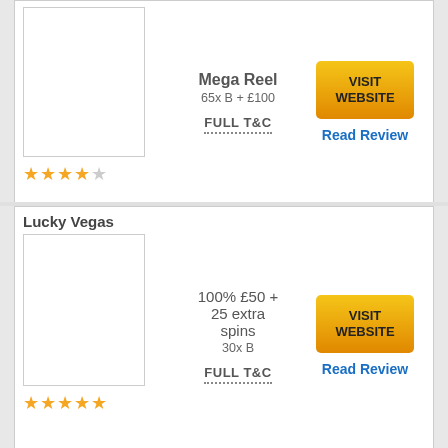[Figure (other): Casino listing card: unnamed casino, bonus Mega Reel 65x B + £100, 3 out of 5 stars, Visit Website button, Read Review link, Full T&C]
[Figure (other): Casino listing card: Lucky Vegas, bonus 100% £50 + 25 extra spins, 30x B, 4 out of 5 stars, Visit Website button, Read Review link, Full T&C]
[Figure (other): Casino listing card: Touch Spins, bonus 1 Spin on Mega Reel 65x B, 3 out of 5 stars, Visit Website button, Read Review link, Full T&C]
[Figure (other): Casino listing card: Slotty Slots, bonus Up to £200 cashback, No wagering requirements, 4 out of 5 stars, Visit Website button, Read Review link, Full T&C]